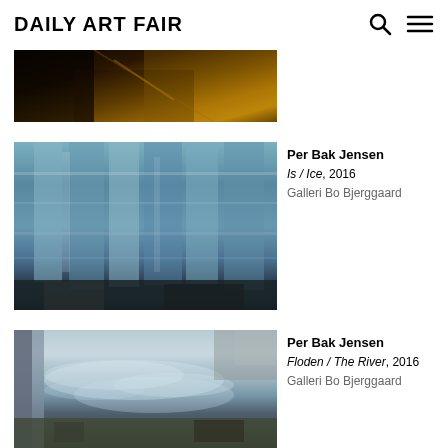Daily Art Fair
[Figure (photo): Partial view of a dark golden/amber colored artwork or photograph, cropped at top of page]
[Figure (photo): Photograph of glacier ice formation with blue-grey layered ice columns and brown rocky ground at base — Per Bak Jensen, Is / Ice, 2016]
Per Bak Jensen
Is / Ice, 2016
Galleri Bo Bjerggaard
[Figure (photo): Photograph of a rushing river with concrete embankment and rocky shoreline — Per Bak Jensen, Floden / The River, 2016]
Per Bak Jensen
Floden / The River, 2016
Galleri Bo Bjerggaard